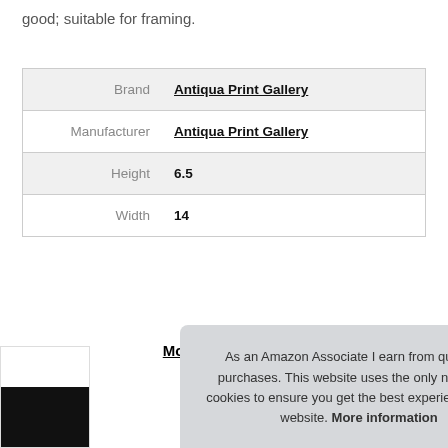good; suitable for framing.
| Brand | Antiqua Print Gallery |
| Manufacturer | Antiqua Print Gallery |
| Height | 6.5 |
| Width | 14 |
More information
10
As an Amazon Associate I earn from qualifying purchases. This website uses the only necessary cookies to ensure you get the best experience on our website. More information